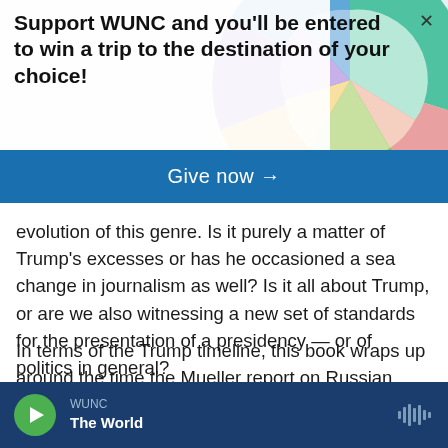[Figure (illustration): Colorful geometric circular decoration with segments in various colors (teal, pink, green, orange, purple, blue) shown in background of banner]
Support WUNC and you'll be entered to win a trip to the destination of your choice!
Give now →
evolution of this genre. Is it purely a matter of Trump's excesses or has he occasioned a sea change in journalism as well? Is it all about Trump, or are we also witnessing a new set of standards for the presentation of a presidency — or of politics in general?
In terms of the Trump timeline, this book wraps up around the time the Mueller report on Russian interference in the 2016 election is being debated
WUNC · The World